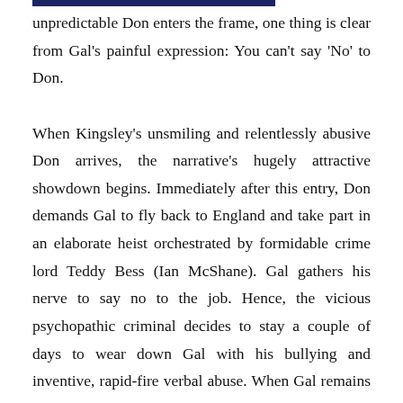unpredictable Don enters the frame, one thing is clear from Gal's painful expression: You can't say 'No' to Don.

When Kingsley's unsmiling and relentlessly abusive Don arrives, the narrative's hugely attractive showdown begins. Immediately after this entry, Don demands Gal to fly back to England and take part in an elaborate heist orchestrated by formidable crime lord Teddy Bess (Ian McShane). Gal gathers his nerve to say no to the job. Hence, the vicious psychopathic criminal decides to stay a couple of days to wear down Gal with his bullying and inventive, rapid-fire verbal abuse. When Gal remains stubborn, Don plays cruel head-games, hurling insults at wife DeeDee, Aitch and Jackie (with whom he previously had a sexual relationship). Things go south, when Don's terrifying explosions prompts the untapped violence to arise out of Gal and his cohorts.